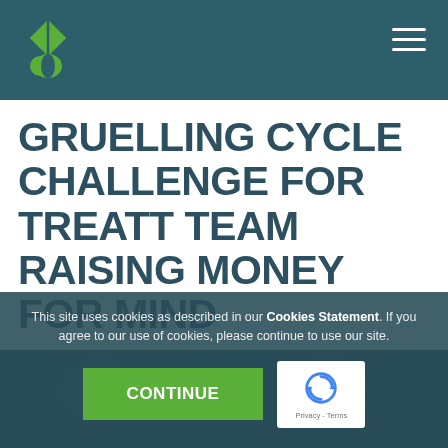Treatt website header with logo and hamburger menu
GRUELLING CYCLE CHALLENGE FOR TREATT TEAM RAISING MONEY FOR MIND
This site uses cookies as described in our Cookies Statement. If you agree to our use of cookies, please continue to use our site.
[Figure (illustration): Green CONTINUE button with reCAPTCHA Privacy - Terms badge]